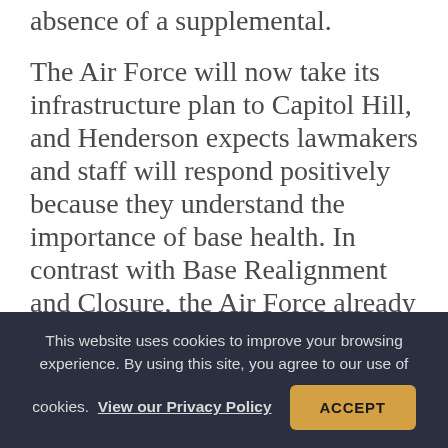absence of a supplemental.
The Air Force will now take its infrastructure plan to Capitol Hill, and Henderson expects lawmakers and staff will respond positively because they understand the importance of base health. In contrast with Base Realignment and Closure, the Air Force already has the authority to remove dilapidated and non-mission-essential facilities without affecting the base as a whole. If the funding is approved, Henderson said, bases will get healthier.
This website uses cookies to improve your browsing experience. By using this site, you agree to our use of cookies. View our Privacy Policy  ACCEPT